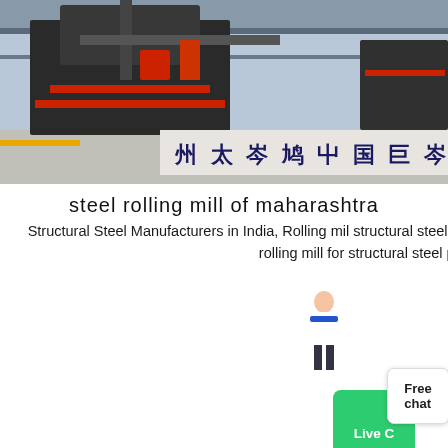[Figure (photo): Industrial steel rolling mill machinery photographed inside a large factory building with Chinese text signage on a banner in the background.]
steel rolling mill of maharashtra
Structural Steel Manufacturers in India, Rolling mil structural steel manufacturers in United States We have state of the art rolling mill for structural steel part of Maharashtra.
[Figure (photo): Three large cone crusher machines (dark grey and red) arranged in a spacious industrial warehouse with high ceilings and fluorescent lighting.]